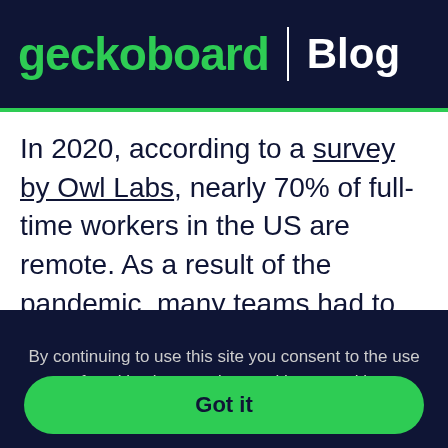geckoboard | Blog
In 2020, according to a survey by Owl Labs, nearly 70% of full-time workers in the US are remote. As a result of the pandemic, many teams had to switch to remote work suddenly. They needed to figure out new ways to achieve the teamwork and collaboration they had in an office
By continuing to use this site you consent to the use of cookies in accordance with our cookie policy. Learn more
Got it